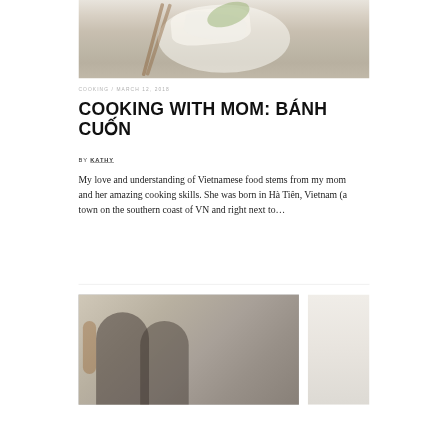[Figure (photo): Top-down photo of Vietnamese bánh cuốn (steamed rice rolls) on a white plate with fresh greens and chopsticks on a light marble surface]
COOKING / MARCH 12, 2018
COOKING WITH MOM: BÁNH CUỐN
BY KATHY
My love and understanding of Vietnamese food stems from my mom and her amazing cooking skills. She was born in Hà Tiên, Vietnam (a town on the southern coast of VN and right next to…
[Figure (photo): Two people, a man with a mustache and long dark hair and a woman with long dark hair, posing together indoors with a guitar visible in the background]